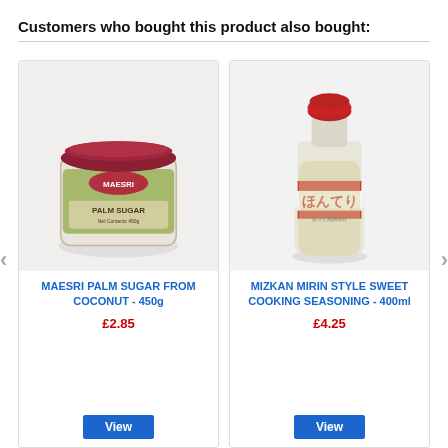Customers who bought this product also bought:
[Figure (photo): Maesri Palm Sugar from Coconut jar with green label and dark red lid, 450g]
MAESRI PALM SUGAR FROM COCONUT - 450g
£2.85
[Figure (photo): Mizkan Mirin Style Sweet Cooking Seasoning clear bottle with red cap and Japanese text, 400ml]
MIZKAN MIRIN STYLE SWEET COOKING SEASONING - 400ml
£4.25